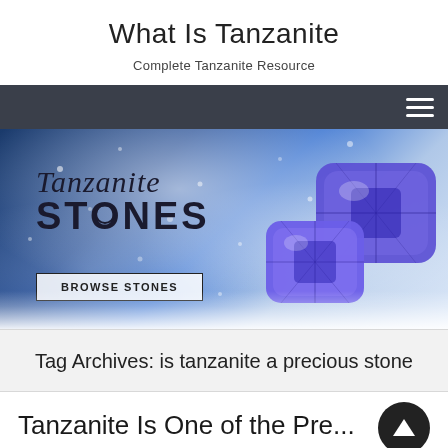What Is Tanzanite
Complete Tanzanite Resource
[Figure (screenshot): Dark navigation bar with hamburger menu icon on the right]
[Figure (illustration): Tanzanite Stones banner with blue snowy background, two blue tanzanite gemstones on the right, italic script 'Tanzanite' above bold 'STONES' text, and a 'BROWSE STONES' button]
Tag Archives: is tanzanite a precious stone
Tanzanite Is One of the Prec...